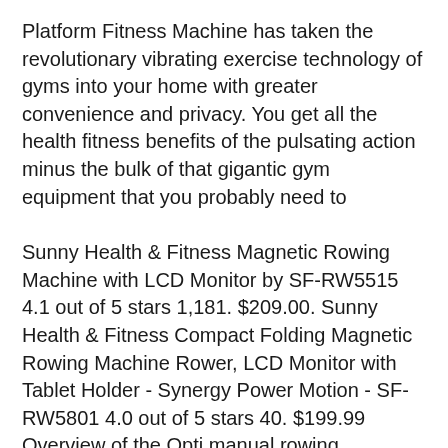Platform Fitness Machine has taken the revolutionary vibrating exercise technology of gyms into your home with greater convenience and privacy. You get all the health fitness benefits of the pulsating action minus the bulk of that gigantic gym equipment that you probably need to
Sunny Health & Fitness Magnetic Rowing Machine with LCD Monitor by SF-RW5515 4.1 out of 5 stars 1,181. $209.00. Sunny Health & Fitness Compact Folding Magnetic Rowing Machine Rower, LCD Monitor with Tablet Holder - Synergy Power Motion - SF-RW5801 4.0 out of 5 stars 40. $199.99 Overview of the Opti manual rowing